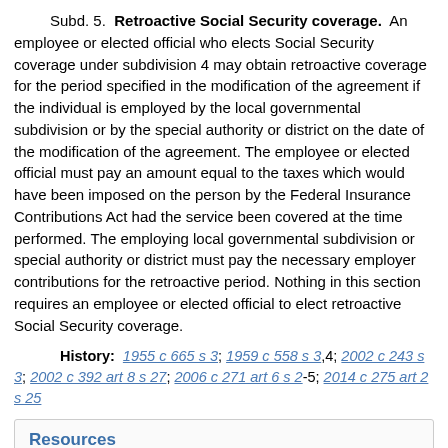Subd. 5. Retroactive Social Security coverage. An employee or elected official who elects Social Security coverage under subdivision 4 may obtain retroactive coverage for the period specified in the modification of the agreement if the individual is employed by the local governmental subdivision or by the special authority or district on the date of the modification of the agreement. The employee or elected official must pay an amount equal to the taxes which would have been imposed on the person by the Federal Insurance Contributions Act had the service been covered at the time performed. The employing local governmental subdivision or special authority or district must pay the necessary employer contributions for the retroactive period. Nothing in this section requires an employee or elected official to elect retroactive Social Security coverage.
History: 1955 c 665 s 3; 1959 c 558 s 3,4; 2002 c 243 s 3; 2002 c 392 art 8 s 27; 2006 c 271 art 6 s 2-5; 2014 c 275 art 2 s 25
Resources